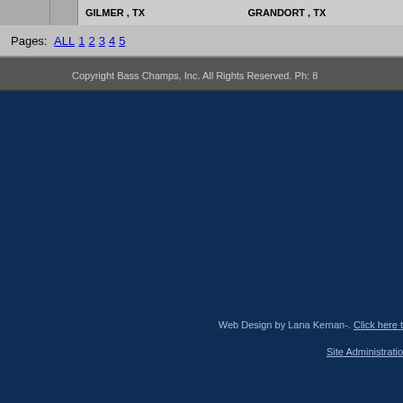GILMER , TX   GRANDORT , TX
Pages: ALL 1 2 3 4 5
Copyright Bass Champs, Inc.  All Rights Reserved.  Ph: 8
Web Design by Lana Kernan-. Click here t
Site Administratio